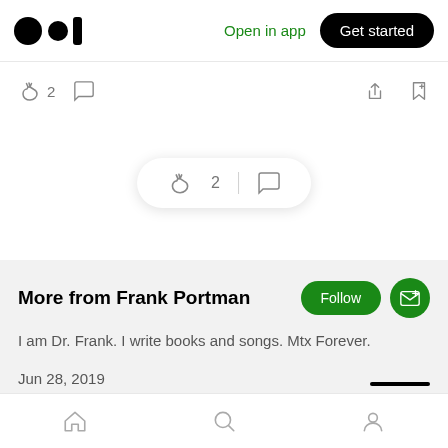[Figure (screenshot): Medium app header with logo, Open in app link, and Get started button]
[Figure (screenshot): Action bar with clap (2), comment, share, and bookmark icons]
[Figure (screenshot): Floating pill with clap (2) and comment icons]
More from Frank Portman
I am Dr. Frank. I write books and songs. Mtx Forever.
Jun 28, 2019
[Figure (screenshot): Bottom navigation bar with home, search, and profile icons]